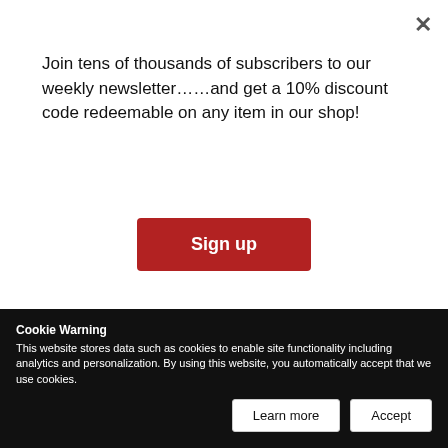Join tens of thousands of subscribers to our weekly newsletter……and get a 10% discount code redeemable on any item in our shop!
Sign up
GHANA - INDUSTRY & MINING
ALWYN PRETORIUS
Brighter Prospecting
CEO, Newmont Ghana
Cookie Warning
This website stores data such as cookies to enable site functionality including analytics and personalization. By using this website, you automatically accept that we use cookies.
Learn more
Accept